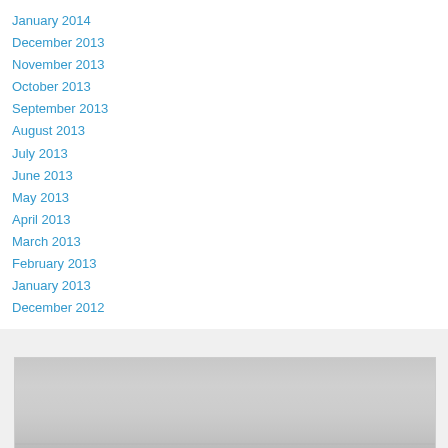January 2014
December 2013
November 2013
October 2013
September 2013
August 2013
July 2013
June 2013
May 2013
April 2013
March 2013
February 2013
January 2013
December 2012
[Figure (photo): A photo showing a surface with blue graffiti/text partially visible at the bottom, on what appears to be a corrugated or ribbed surface in grey tones.]